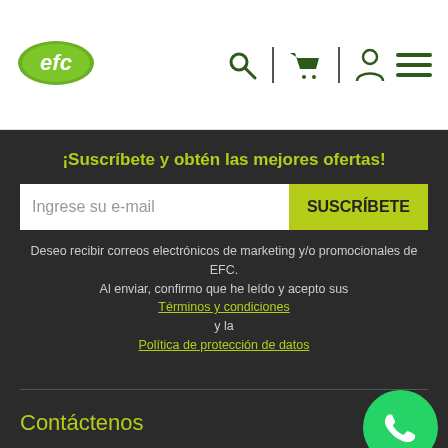[Figure (logo): EFC logo - green oval with white 'efc' text]
[Figure (infographic): Navigation bar icons: search (magnifying glass), cart, user/person icon, hamburger menu - all in dark green]
¡Suscríbete y obtén las mejores ofertas!
Ingrese su e-mail
SUSCRÍBETE
Deseo recibir correos electrónicos de marketing y/o promocionales de EFC.
Al enviar, confirmo que he leído y acepto sus
Términos y condiciones
y la
Política de protección de datos
Contáctenos
[Figure (logo): WhatsApp green circle button with phone handset icon]